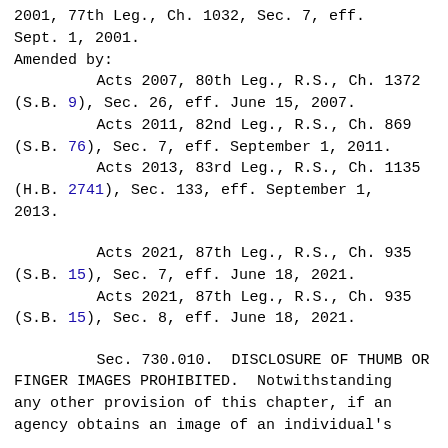2001, 77th Leg., Ch. 1032, Sec. 7, eff. Sept. 1, 2001.
Amended by:
Acts 2007, 80th Leg., R.S., Ch. 1372 (S.B. 9), Sec. 26, eff. June 15, 2007.
Acts 2011, 82nd Leg., R.S., Ch. 869 (S.B. 76), Sec. 7, eff. September 1, 2011.
Acts 2013, 83rd Leg., R.S., Ch. 1135 (H.B. 2741), Sec. 133, eff. September 1, 2013.
Acts 2021, 87th Leg., R.S., Ch. 935 (S.B. 15), Sec. 7, eff. June 18, 2021.
Acts 2021, 87th Leg., R.S., Ch. 935 (S.B. 15), Sec. 8, eff. June 18, 2021.
Sec. 730.010. DISCLOSURE OF THUMB OR FINGER IMAGES PROHIBITED. Notwithstanding any other provision of this chapter, if an agency obtains an image of an individual's